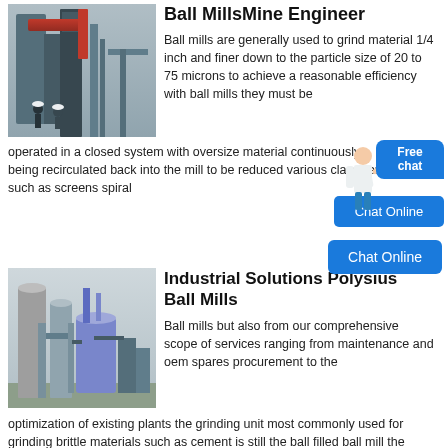[Figure (photo): Industrial ball mill machinery with red equipment and workers in hard hats]
Ball MillsMine Engineer
Ball mills are generally used to grind material 1/4 inch and finer down to the particle size of 20 to 75 microns to achieve a reasonable efficiency with ball mills they must be operated in a closed system with oversize material continuously being recirculated back into the mill to be reduced various classifiers such as screens spiral
[Figure (photo): Industrial plant with tall silos and pipe structures for ball mill operations]
Industrial Solutions Polysius Ball Mills
Ball mills but also from our comprehensive scope of services ranging from maintenance and oem spares procurement to the optimization of existing plants the grinding unit most commonly used for grinding brittle materials such as cement is still the ball filled ball mill the following types can be found single compartment mills